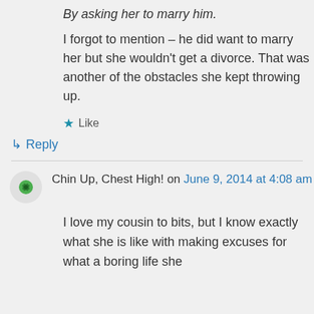By asking her to marry him.
I forgot to mention – he did want to marry her but she wouldn't get a divorce. That was another of the obstacles she kept throwing up.
★ Like
↳ Reply
Chin Up, Chest High! on June 9, 2014 at 4:08 am
I love my cousin to bits, but I know exactly what she is like with making excuses for what a boring life she